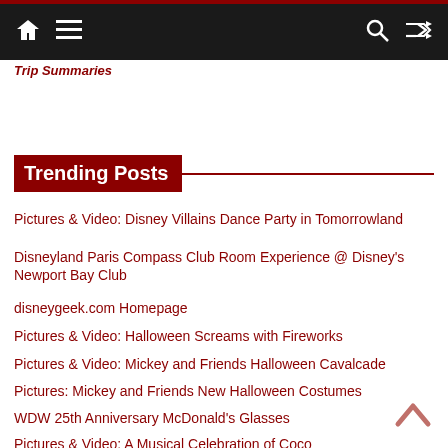Trip Summaries
Trending Posts
Pictures & Video: Disney Villains Dance Party in Tomorrowland
Disneyland Paris Compass Club Room Experience @ Disney's Newport Bay Club
disneygeek.com Homepage
Pictures & Video: Halloween Screams with Fireworks
Pictures & Video: Mickey and Friends Halloween Cavalcade
Pictures: Mickey and Friends New Halloween Costumes
WDW 25th Anniversary McDonald's Glasses
Pictures & Video: A Musical Celebration of Coco